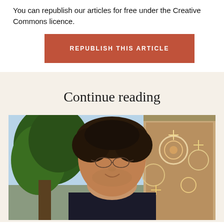You can republish our articles for free under the Creative Commons licence.
REPUBLISH THIS ARTICLE
Continue reading
[Figure (photo): A man with curly hair and glasses smiling outdoors, with a tree on the left and an ornate mosaic-decorated building wall on the right.]